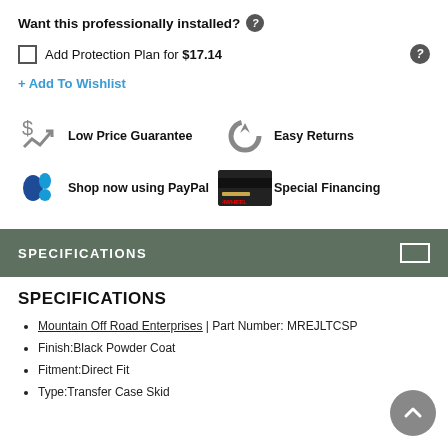Want this professionally installed? ?
Add Protection Plan for $17.14 ?
+ Add To Wishlist
Low Price Guarantee
Easy Returns
Shop now using PayPal
Special Financing
SPECIFICATIONS
SPECIFICATIONS
Mountain Off Road Enterprises | Part Number: MREJLTCSP
Finish:Black Powder Coat
Fitment:Direct Fit
Type:Transfer Case Skid